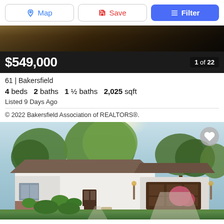[Figure (screenshot): Top navigation bar with Map, Save, and Filter buttons]
[Figure (photo): Partial exterior photo top strip, dark/shadowed]
$549,000   1 of 22
61 | Bakersfield
4 beds  2 baths  1 ½ baths  2,025 sqft
Listed 9 Days Ago
© 2022 Bakersfield Association of REALTORS®.
[Figure (photo): Exterior front photo of single-story ranch-style home in Bakersfield with large trees, white stucco walls, brown garage door, and flowers]